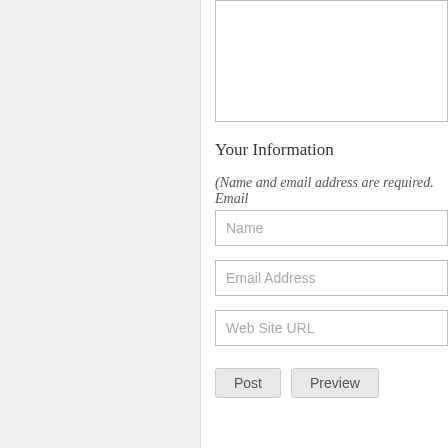[Figure (screenshot): Textarea input box (comment/text area) with border, partially visible at top of content area]
Your Information
(Name and email address are required. Email
[Figure (screenshot): Name text input field with placeholder text 'Name']
[Figure (screenshot): Email Address text input field with placeholder text 'Email Address']
[Figure (screenshot): Web Site URL text input field with placeholder text 'Web Site URL']
[Figure (screenshot): Two buttons: 'Post' and 'Preview']